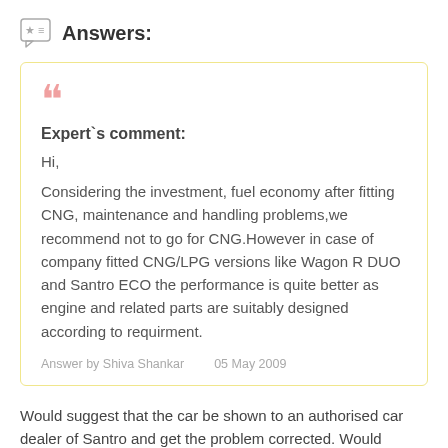Answers:
Expert`s comment:

Hi,

Considering the investment, fuel economy after fitting CNG, maintenance and handling problems,we recommend not to go for CNG.However in case of company fitted CNG/LPG versions like Wagon R DUO and Santro ECO the performance is quite better as engine and related parts are suitably designed according to requirment.

Answer by Shiva Shankar    05 May 2009
Would suggest that the car be shown to an authorised car dealer of Santro and get the problem corrected. Would certainly not advise the person to get a retro CNG kit fitted: